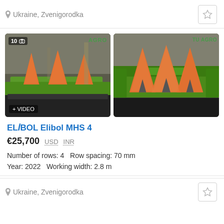Ukraine, Zvenigorodka
[Figure (photo): Two photos of ELiBOL Elibol MHS 4 corn header attachment — green machine with orange conical covers, shown in warehouse setting. First photo shows side/front view with '10' photo badge and '+ VIDEO' label; second shows front view.]
ELiBOL Elibol MHS 4
€25,700   USD   INR
Number of rows: 4   Row spacing: 70 mm
Year: 2022   Working width: 2.8 m
Ukraine, Zvenigorodka